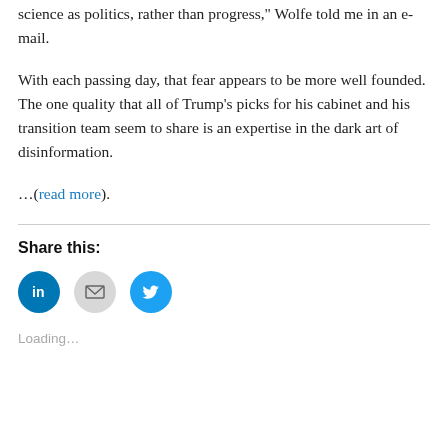science as politics, rather than progress," Wolfe told me in an e-mail.
With each passing day, that fear appears to be more well founded. The one quality that all of Trump’s picks for his cabinet and his transition team seem to share is an expertise in the dark art of disinformation.
…(read more).
Share this:
[Figure (infographic): Three social share buttons: LinkedIn (blue circle with 'in' logo), Email (light gray circle with envelope icon), Twitter (blue circle with bird logo)]
Loading...